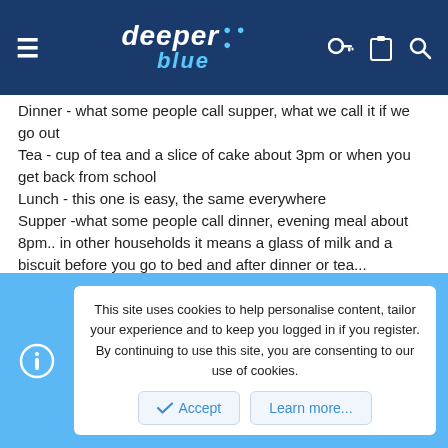deeper blue
Dinner - what some people call supper, what we call it if we go out
Tea - cup of tea and a slice of cake about 3pm or when you get back from school
Lunch - this one is easy, the same everywhere
Supper -what some people call dinner, evening meal about 8pm.. in other households it means a glass of milk and a biscuit before you go to bed and after dinner or tea...
we used to get beaten if we referred to our evening meal as tea.. in fact I think we still would...
s
This site uses cookies to help personalise content, tailor your experience and to keep you logged in if you register.
By continuing to use this site, you are consenting to our use of cookies.